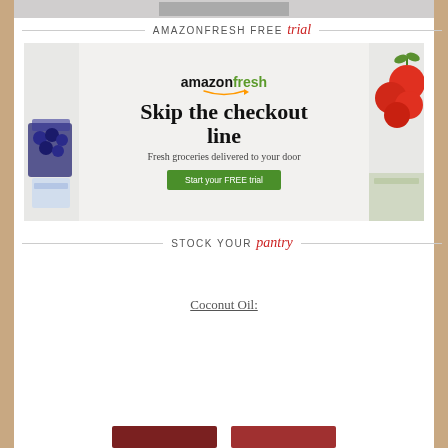[Figure (photo): Partial top image, cropped at top of page]
AMAZONFRESH FREE trial
[Figure (screenshot): AmazonFresh advertisement banner: 'amazon fresh - Skip the checkout line - Fresh groceries delivered to your door - Start your FREE trial' button, with blueberries on left and tomatoes on right]
STOCK YOUR pantry
Coconut Oil:
[Figure (photo): Two product thumbnail images at the bottom, partially cut off]